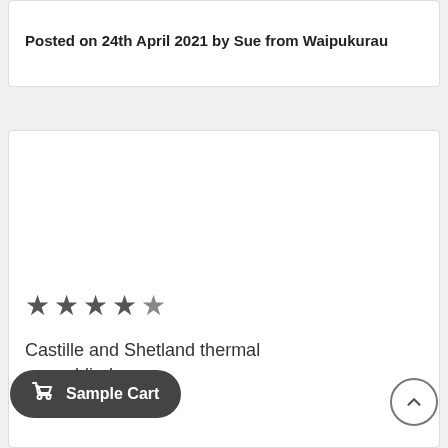Posted on 24th April 2021 by Sue from Waipukurau
★★★★★ (4.5 stars rating)
Castille and Shetland thermal blinds